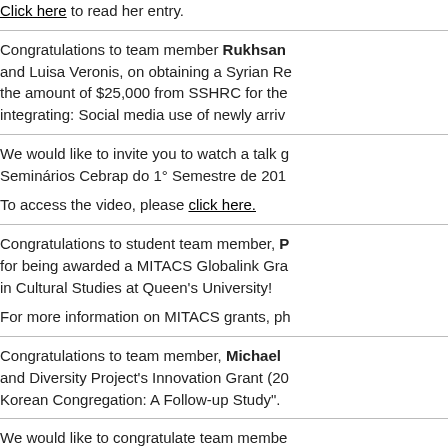Click here to read her entry.
Congratulations to team member Rukhsan and Luisa Veronis, on obtaining a Syrian Re the amount of $25,000 from SSHRC for the integrating: Social media use of newly arriv
We would like to invite you to watch a talk g Seminários Cebrap do 1° Semestre de 201
To access the video, please click here.
Congratulations to student team member, P for being awarded a MITACS Globalink Gra in Cultural Studies at Queen's University!
For more information on MITACS grants, ph
Congratulations to team member, Michael and Diversity Project's Innovation Grant (20 Korean Congregation: A Follow-up Study".
We would like to congratulate team membe Pluralism and Comparative Law and Profes Ottawa, on receiving the Claire de l'Excell